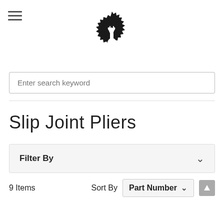[Figure (logo): Black circular badge logo with a white giraffe silhouette and jagged/spiked border]
Enter search keyword
Slip Joint Pliers
Filter By
9 Items  Sort By  Part Number ↑